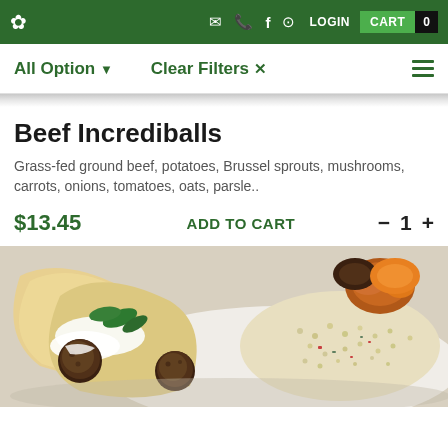Navigation bar with logo, email, phone, Facebook, Instagram icons, LOGIN, CART 0
All Option ▼   Clear Filters ✕
Beef Incrediballs
Grass-fed ground beef, potatoes, Brussel sprouts, mushrooms, carrots, onions, tomatoes, oats, parsle..
$13.45   ADD TO CART   − 1 +
[Figure (photo): Photo of Beef Incrediballs dish: meatballs in flatbread with yogurt sauce, spinach leaves, roasted vegetables, and couscous salad with tomatoes and vegetables on a white plate.]